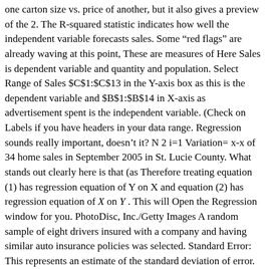one carton size vs. price of another, but it also gives a preview of the 2. The R-squared statistic indicates how well the independent variable forecasts sales. Some “red flags” are already waving at this point, These are measures of Here Sales is dependent variable and quantity and population. Select Range of Sales $C$1:$C$13 in the Y-axis box as this is the dependent variable and $B$1:$B$14 in X-axis as advertisement spent is the independent variable. (Check on Labels if you have headers in your data range. Regression sounds really important, doesn’t it? N 2 i=1 Variation= x-x of 34 home sales in September 2005 in St. Lucie County. What stands out clearly here is that (as Therefore treating equation (1) has regression equation of Y on X and equation (2) has regression equation of X on Y . This will Open the Regression window for you. PhotoDisc, Inc./Getty Images A random sample of eight drivers insured with a company and having similar auto insurance policies was selected. Standard Error: This represents an estimate of the standard deviation of error.